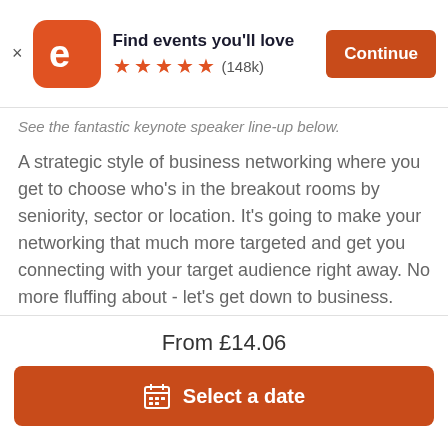[Figure (screenshot): Eventbrite app banner with orange rounded square logo showing stylized 'e', star ratings, and Continue button]
See the fantastic keynote speaker line-up below.
A strategic style of business networking where you get to choose who's in the breakout rooms by seniority, sector or location. It's going to make your networking that much more targeted and get you connecting with your target audience right away. No more fluffing about - let's get down to business.
...............................................
Program:
7:00 Guest Speaker
From £14.06
Select a date